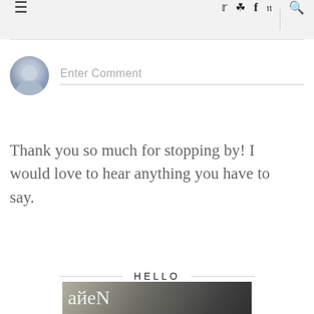≡  twitter instagram facebook pinterest  🔍
[Figure (other): Comment input field with default user avatar icon and 'Enter Comment' placeholder text]
Thank you so much for stopping by! I would love to hear anything you have to say.
HELLO
[Figure (photo): Partial photo of a person at the bottom of the page with handwritten text overlay]